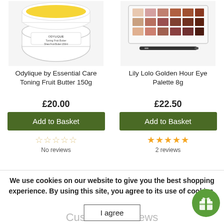[Figure (photo): Odylique by Essential Care Toning Fruit Butter 150g jar with yellow butter visible inside white lid]
[Figure (photo): Lily Lolo Golden Hour Eye Palette 8g open palette showing warm-toned eyeshadows with applicator brush]
Odylique by Essential Care Toning Fruit Butter 150g
Lily Lolo Golden Hour Eye Palette 8g
£20.00
£22.50
Add to Basket
Add to Basket
No reviews
2 reviews
We use cookies on our website to give you the best shopping experience. By using this site, you agree to its use of cookies.
I agree
Customer Reviews